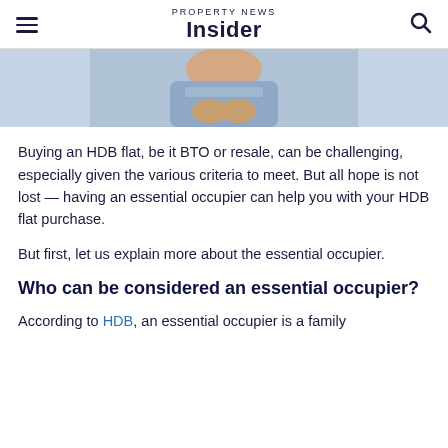PROPERTY NEWS Insider
[Figure (photo): Partial photo of a person sitting, wearing a blue striped top, arms crossed or resting]
Buying an HDB flat, be it BTO or resale, can be challenging, especially given the various criteria to meet. But all hope is not lost — having an essential occupier can help you with your HDB flat purchase.
But first, let us explain more about the essential occupier.
Who can be considered an essential occupier?
According to HDB, an essential occupier is a family